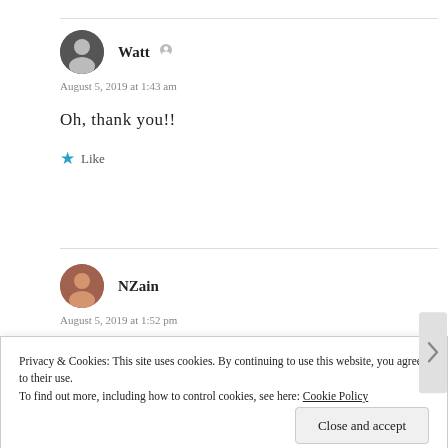Watt — August 5, 2019 at 1:43 am
Oh, thank you!!
Like
NZain — August 5, 2019 at 1:52 pm
😊
Privacy & Cookies: This site uses cookies. By continuing to use this website, you agree to their use. To find out more, including how to control cookies, see here: Cookie Policy
Close and accept